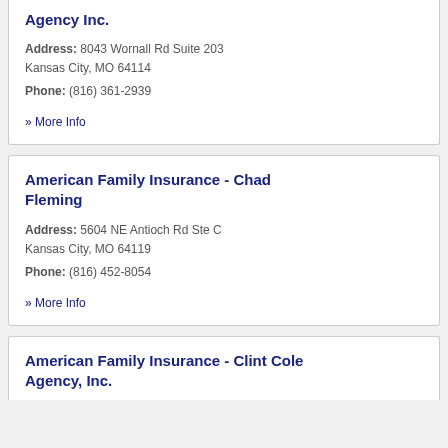Agency Inc.
Address: 8043 Wornall Rd Suite 203 Kansas City, MO 64114
Phone: (816) 361-2939
» More Info
American Family Insurance - Chad Fleming
Address: 5604 NE Antioch Rd Ste C Kansas City, MO 64119
Phone: (816) 452-8054
» More Info
American Family Insurance - Clint Cole Agency, Inc.